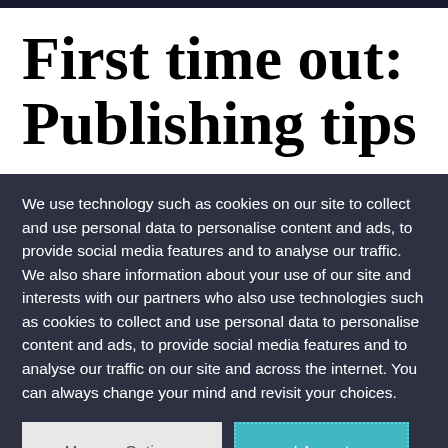First time out: Publishing tips
We use technology such as cookies on our site to collect and use personal data to personalise content and ads, to provide social media features and to analyse our traffic. We also share information about your use of our site and interests with our partners who also use technologies such as cookies to collect and use personal data to personalise content and ads, to provide social media features and to analyse our traffic on our site and across the internet. You can always change your mind and revisit your choices.
Manage Options
I Accept